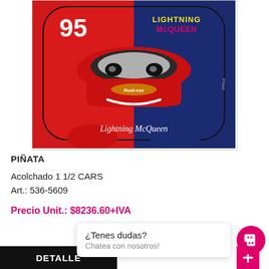[Figure (photo): Lightning McQueen Cars branded pillow/cushion product photo. The pillow is shaped like a car/character, split red and dark blue. Features the number 95, Lightning McQueen text in yellow, and a cartoon car face. 'Lightning McQueen' script text at the bottom.]
PIÑATA
Acolchado 1 1/2 CARS
Art.: 536-5609
Precio Unit.: $8236.60+IVA
¿Tenes dudas?
Chatea con nosotros!
DETALLE